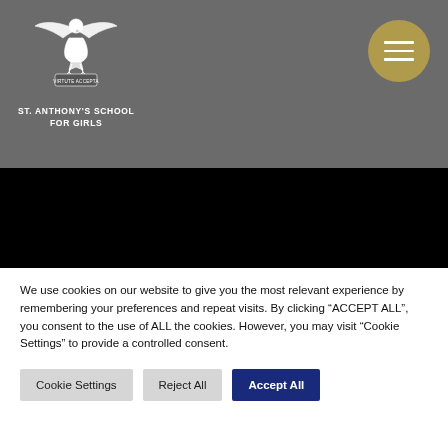[Figure (logo): St. Anthony's School for Girls logo — an eagle crest with banner 'VIRTUTE ACCEPTA' on grey header background]
ST. ANTHONY'S SCHOOL FOR GIRLS
[Figure (other): Gold/tan circular hamburger menu button with three white horizontal lines on grey header]
[Figure (photo): Black band / video area below header]
We use cookies on our website to give you the most relevant experience by remembering your preferences and repeat visits. By clicking “ACCEPT ALL”, you consent to the use of ALL the cookies. However, you may visit “Cookie Settings” to provide a controlled consent.
Cookie Settings | Reject All | Accept All